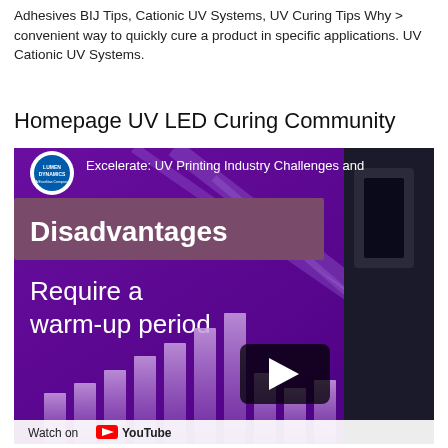Adhesives BIJ Tips, Cationic UV Systems, UV Curing Tips Why > convenient way to quickly cure a product in specific applications. UV Cationic UV Systems.
Homepage UV LED Curing Community
[Figure (screenshot): YouTube video thumbnail for 'Excelerate: UV Printing Industry Challenges and...' showing the word 'Disadvantages' on a purple/mauve banner and text 'Require a warm-up period' on a purple background with rising bar chart graphic. Lumen Dynamics logo in top left. Play button overlay. 'Watch on YouTube' text at bottom.]